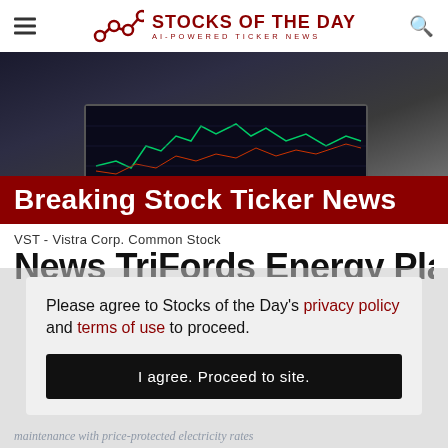STOCKS OF THE DAY — AI-POWERED TICKER NEWS
[Figure (photo): Laptop with stock chart trading screen displayed, keyboard visible, dark background]
Breaking Stock Ticker News
VST - Vistra Corp. Common Stock
N... TriFords Energ... Pl...
Please agree to Stocks of the Day's privacy policy and terms of use to proceed.
I agree. Proceed to site.
maintenance with price-protected electricity rates